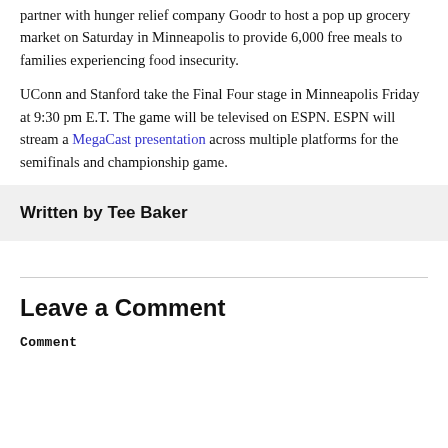partner with hunger relief company Goodr to host a pop up grocery market on Saturday in Minneapolis to provide 6,000 free meals to families experiencing food insecurity.
UConn and Stanford take the Final Four stage in Minneapolis Friday at 9:30 pm E.T. The game will be televised on ESPN. ESPN will stream a MegaCast presentation across multiple platforms for the semifinals and championship game.
Written by Tee Baker
Leave a Comment
Comment